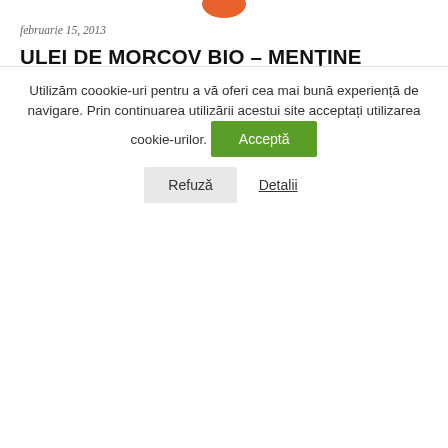[Figure (photo): Partial carrot image visible at top of page, cropped orange carrot]
februarie 15, 2013
ULEI DE MORCOV BIO – MENȚINE PIELEA TÂNĂRĂ ȘI ELIMINĂ RIDURILE
Se știe că morcovul este unul cele mai populare alimente destinate îngrijirii pielii, dar știați că există ulei de morcov bio? Morcovul nu este bun doar pentru vedere, ci vine au adevărat în ajutorul nostru atunci când pielea își pierde strălucirea și frumusețea. Atunci când ...
Skincare · de bioaddict · 6 Comments
Utilizăm coookie-uri pentru a vă oferi cea mai bună experiență de navigare. Prin continuarea utilizării acestui site acceptați utilizarea cookie-urilor. Acceptă Refuză Detalii